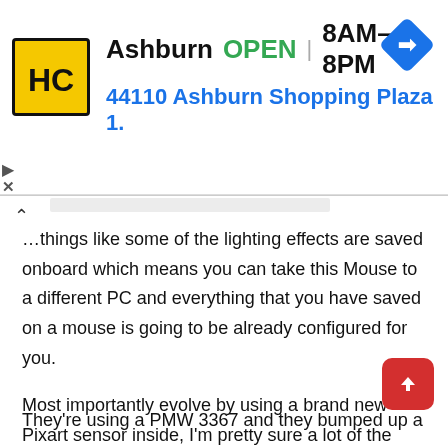[Figure (screenshot): Ad banner for Hairclub (HC) location in Ashburn showing logo, OPEN status, hours 8AM-8PM, and address 44110 Ashburn Shopping Plaza 1., with a blue navigation arrow icon on the right.]
things like some of the lighting effects are saved onboard which means you can take this Mouse to a different PC and everything that you have saved on a mouse is going to be already configured for you.
Most importantly evolve by using a brand new Pixart sensor inside, I'm pretty sure a lot of the newer Logitech mice use a similar Pixart sensor that's great because the G502 has that same sensor inside. So, having that consistency a very accurate sensor is going to be great for gaming.
They're using a PMW 3367 and they bumped up a DPI